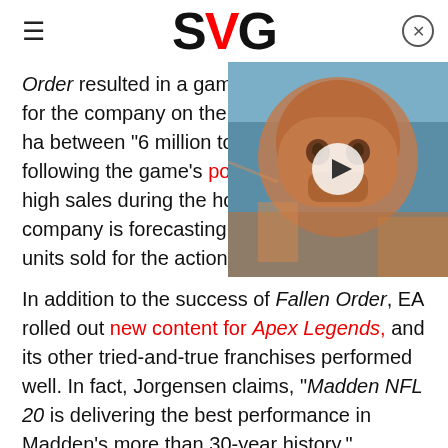SVG
[Figure (screenshot): Video thumbnail showing a bearded warrior character from a video game with a play button overlay, partially obscuring the article text on the right side.]
Order resulted in a game that expectations for the company on the conference call, EA ha between "6 million to 8 million However, following the game's positive reception and high sales during the holiday season, the company is forecasting closer to 10 million units sold for the action title.
In addition to the success of Fallen Order, EA rolled out new content for Apex Legends, and its other tried-and-true franchises performed well. In fact, Jorgensen claims, "Madden NFL 20 is delivering the best performance in Madden's more than 30-year history."